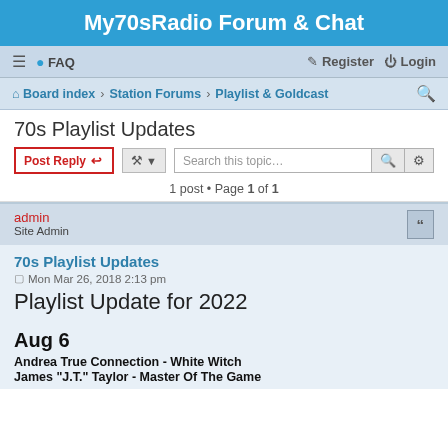My70sRadio Forum & Chat
≡  FAQ    Register  Login
Board index › Station Forums › Playlist & Goldcast
70s Playlist Updates
Post Reply  [tools]  Search this topic...  1 post • Page 1 of 1
admin
Site Admin
70s Playlist Updates
Mon Mar 26, 2018 2:13 pm
Playlist Update for 2022
Aug 6
Andrea True Connection - White Witch
James "J.T." Taylor - Master Of The Game